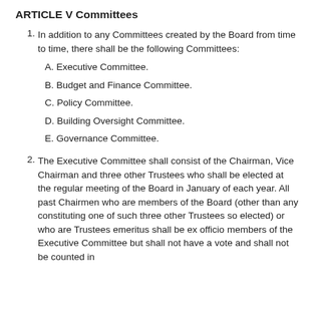ARTICLE V Committees
In addition to any Committees created by the Board from time to time, there shall be the following Committees:
A. Executive Committee.
B. Budget and Finance Committee.
C. Policy Committee.
D. Building Oversight Committee.
E. Governance Committee.
The Executive Committee shall consist of the Chairman, Vice Chairman and three other Trustees who shall be elected at the regular meeting of the Board in January of each year. All past Chairmen who are members of the Board (other than any constituting one of such three other Trustees so elected) or who are Trustees emeritus shall be ex officio members of the Executive Committee but shall not have a vote and shall not be counted in